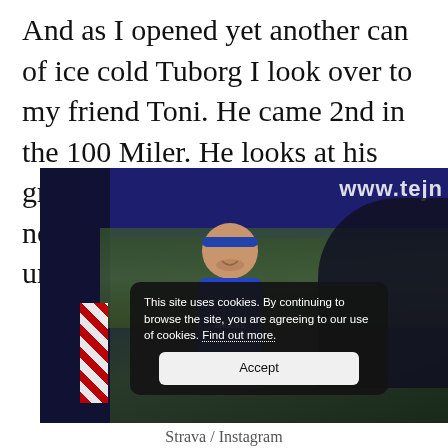And as I opened yet another can of ice cold Tuborg I look over to my friend Toni. He came 2nd in the 100 Miler. He looks at his granite trophy and smiles: “It’s not the Alps, but it is very unique!”
[Figure (photo): A man wearing a blue Brooks running shirt and blue headband at what appears to be a race checkpoint or aid station under a blue tent. A cookie consent overlay is visible over the image reading 'This site uses cookies. By continuing to browse the site, you are agreeing to our use of cookies. Find out more.' with an Accept button. A URL partially visible in the top right reads 'www.tejr...'. The background shows greenery.]
Strava / Instagram